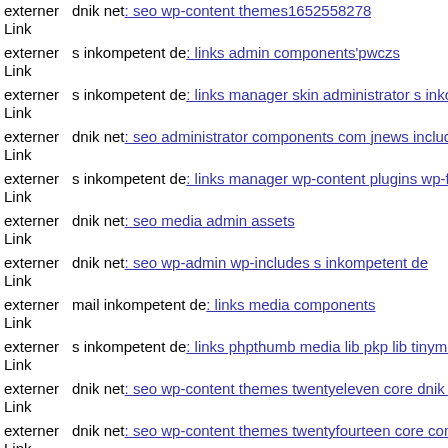externer Link  dnik net: seo wp-content themes1652558278
externer Link  s inkompetent de: links admin components'pwczs
externer Link  s inkompetent de: links manager skin administrator s inkompetent de
externer Link  dnik net: seo administrator components com jnews includes
externer Link  s inkompetent de: links manager wp-content plugins wp-file
externer Link  dnik net: seo media admin assets
externer Link  dnik net: seo wp-admin wp-includes s inkompetent de
externer Link  mail inkompetent de: links media components
externer Link  s inkompetent de: links phpthumb media lib pkp lib tinymce
externer Link  dnik net: seo wp-content themes twentyeleven core dnik net
externer Link  dnik net: seo wp-content themes twentyfourteen core components